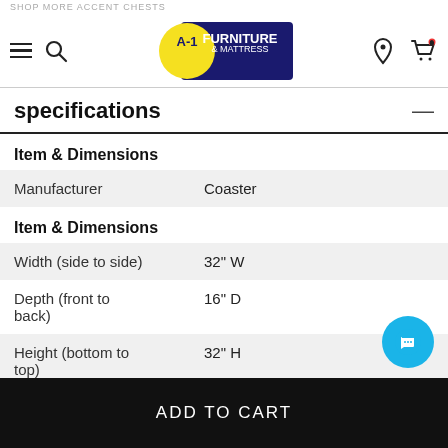SHOP MORE ACCENT CHESTS | A-1 Furniture & Mattress
specifications
|  |  |
| --- | --- |
| Item & Dimensions |  |
| Manufacturer | Coaster |
| Item & Dimensions |  |
| Width (side to side) | 32" W |
| Depth (front to back) | 16" D |
| Height (bottom to top) | 32" H |
| Product |  |
|  | Accent Chest |
ADD TO CART